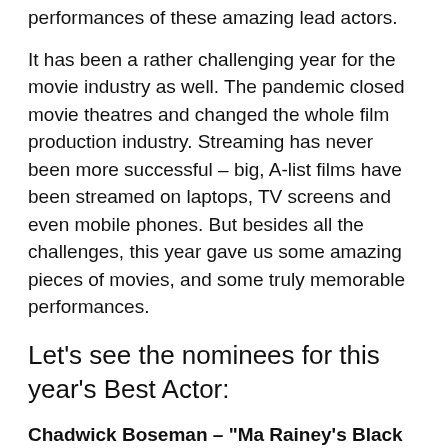performances of these amazing lead actors.
It has been a rather challenging year for the movie industry as well. The pandemic closed movie theatres and changed the whole film production industry. Streaming has never been more successful – big, A-list films have been streamed on laptops, TV screens and even mobile phones. But besides all the challenges, this year gave us some amazing pieces of movies, and some truly memorable performances.
Let's see the nominees for this year's Best Actor:
Chadwick Boseman – "Ma Rainey's Black Bottom" (Netflix) – a fiery young, tortured, ambitious trumpet player who gives "Ma Rainey's Black Bottom" its tragic grace notes...